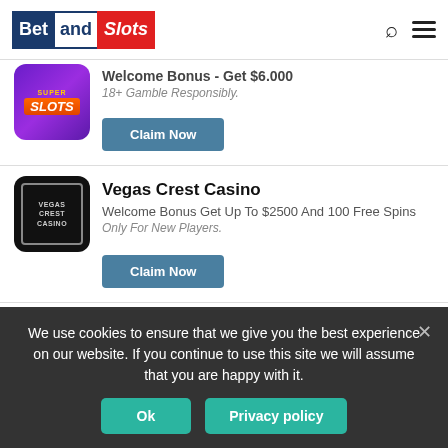BetandSlots
[Figure (logo): Super Slots casino logo - purple background with orange SLOTS text]
Welcome Bonus - Get $6.000
18+ Gamble Responsibly.
Claim Now
Vegas Crest Casino
Welcome Bonus Get Up To $2500 And 100 Free Spins
Only For New Players.
Claim Now
Cyberspins
We use cookies to ensure that we give you the best experience on our website. If you continue to use this site we will assume that you are happy with it.
Ok
Privacy policy